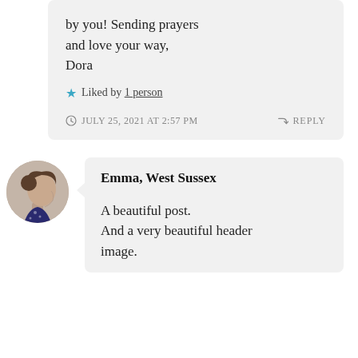by you! Sending prayers and love your way,
Dora
★ Liked by 1 person
JULY 25, 2021 AT 2:57 PM  ↪ REPLY
[Figure (photo): Circular avatar photo of a woman in profile view, side-facing, wearing a dark patterned top]
Emma, West Sussex
A beautiful post.
And a very beautiful header image.